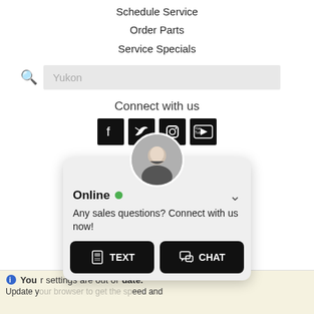Schedule Service
Order Parts
Service Specials
Yukon (search field)
Connect with us
[Figure (logo): Social media icons: Facebook, Twitter, Instagram, YouTube]
[Figure (logo): AMVIC - Alberta Motor Vehicle Industry Council logo with red chevron graphic]
Websites Powered By
[Figure (logo): Fox Dealer logo with orange wing icon and text FOXDEALER]
[Figure (screenshot): Chat popup overlay: Online status with green dot, message 'Any sales questions? Connect with us now!', TEXT and CHAT buttons]
You ... date. Update y ... eed and